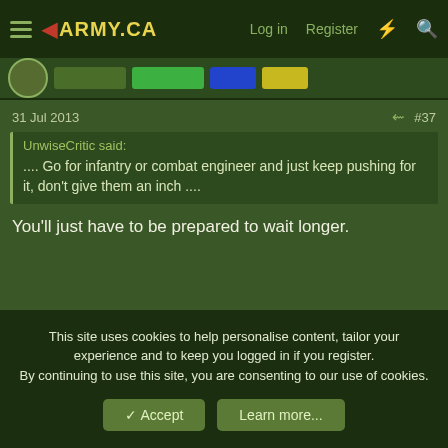ARMY.CA - Log in - Register
31 Jul 2013  #37
UnwiseCritic said:
.... Go for infantry or combat engineer and just keep pushing for it, don't give them an inch ....
You'll just have to be prepared to wait longer.
Knight13 said:
But what about the other way around... I can't see the army letting someone who they spent a lot time and money on training to fix vehicles just up and leave
This site uses cookies to help personalise content, tailor your experience and to keep you logged in if you register.
By continuing to use this site, you are consenting to our use of cookies.